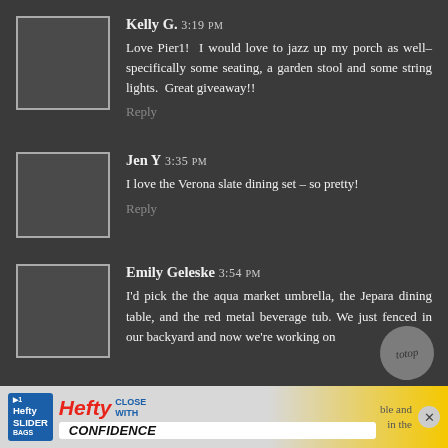[Figure (photo): Avatar placeholder square for Kelly G.]
Kelly G. 3:19 PM
Love Pier1!  I would love to jazz up my porch as well– specifically some seating, a garden stool and some string lights.  Great giveaway!!
Reply
[Figure (photo): Avatar placeholder square for Jen Y.]
Jen Y 3:35 PM
I love the Verona slate dining set – so pretty!
Reply
[Figure (photo): Avatar placeholder square for Emily Geleske.]
Emily Geleske 3:54 PM
I'd pick the the aqua market umbrella, the Jepara dining table, and the red metal beverage tub. We just fenced in our backyard and now we're working on
[Figure (screenshot): Hefty Slider advertisement banner at the bottom of the page]